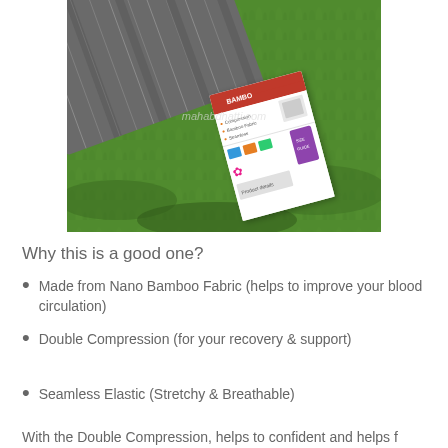[Figure (photo): Product photo showing striped bamboo fabric and a product box/packaging with red top border, placed on green grass background. A watermark reads 'mahabdhatti.com'. The box shows icons and text details about the product.]
Why this is a good one?
Made from Nano Bamboo Fabric (helps to improve your blood circulation)
Double Compression (for your recovery & support)
Seamless Elastic (Stretchy & Breathable)
With the Double Compression, helps to confident and helps f